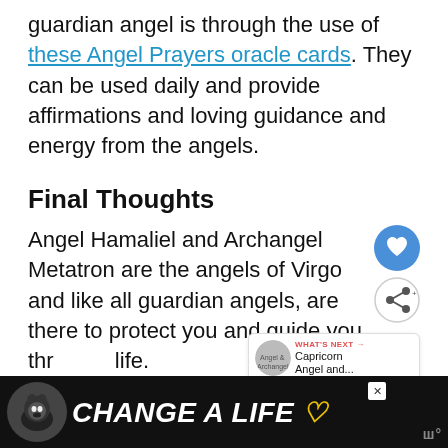guardian angel is through the use of these Angel Prayers oracle cards. They can be used daily and provide affirmations and loving guidance and energy from the angels.
Final Thoughts
Angel Hamaliel and Archangel Metatron are the angels of Virgo and like all guardian angels, are there to protect you and guide you thr... life.
[Figure (screenshot): Advertisement banner at the bottom: dark background with a dog image and text 'CHANGE A LIFE' with a heart icon. Close button visible top right.]